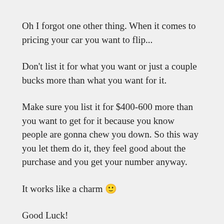Oh I forgot one other thing. When it comes to pricing your car you want to flip...
Don't list it for what you want or just a couple bucks more than what you want for it.
Make sure you list it for $400-600 more than you want to get for it because you know people are gonna chew you down. So this way you let them do it, they feel good about the purchase and you get your number anyway.
It works like a charm 🙂
Good Luck!